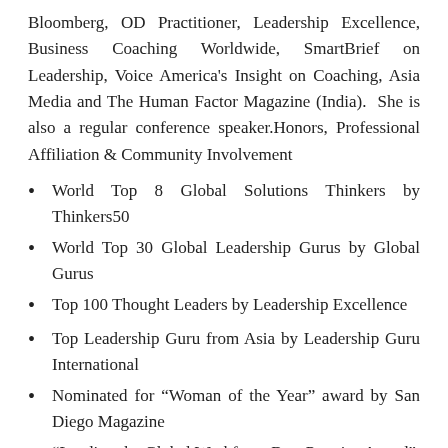Bloomberg, OD Practitioner, Leadership Excellence, Business Coaching Worldwide, SmartBrief on Leadership, Voice America's Insight on Coaching, Asia Media and The Human Factor Magazine (India). She is also a regular conference speaker.Honors, Professional Affiliation & Community Involvement
World Top 8 Global Solutions Thinkers by Thinkers50
World Top 30 Global Leadership Gurus by Global Gurus
Top 100 Thought Leaders by Leadership Excellence
Top Leadership Guru from Asia by Leadership Guru International
Nominated for “Woman of the Year” award by San Diego Magazine
“Leading the Global Workforce Best Practice Award”